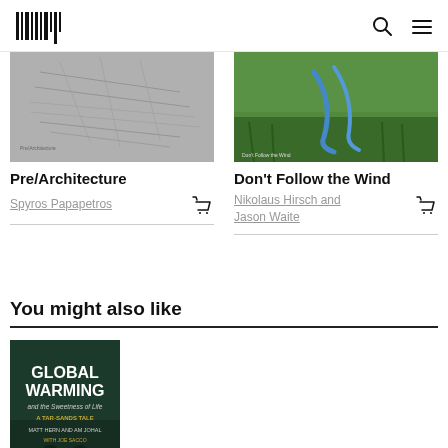Logo | Search | Menu
[Figure (photo): Book cover for Pre/Architecture, grayscale texture image]
Pre/Architecture
Spyros Papapetros
[Figure (photo): Book cover for Don't Follow the Wind, showing grass and blue tube/pipe]
Don't Follow the Wind
Nikolaus Hirsch and Jason Waite
You might also like
[Figure (photo): Book cover for Global Warming and the Sweetness of Life: A Tar-Sands Tale by Matt Hern and Am Johal, dark green cover with white and yellow text]